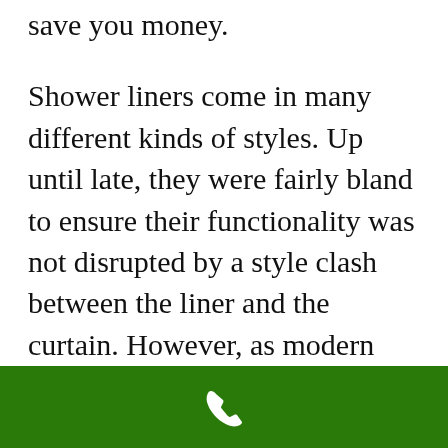save you money.
Shower liners come in many different kinds of styles. Up until late, they were fairly bland to ensure their functionality was not disrupted by a style clash between the liner and the curtain. However, as modern styling elements have continued to take a food hold in the industry across all ends of the spectrum, there are new designs that exhibit vibrant patterns that come in sets with corresponding curtains.
[Figure (other): Green bar at bottom of screen with a white phone/call icon in the center]